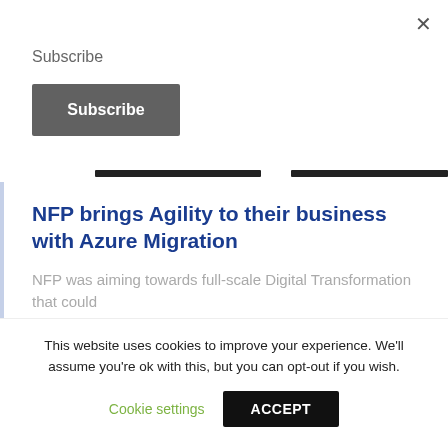×
Subscribe
Subscribe
NFP brings Agility to their business with Azure Migration
NFP was aiming towards full-scale Digital Transformation that could
This website uses cookies to improve your experience. We'll assume you're ok with this, but you can opt-out if you wish.
Cookie settings
ACCEPT